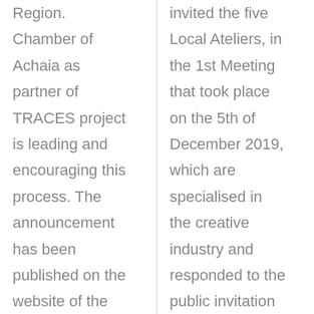Region. Chamber of Achaia as partner of TRACES project is leading and encouraging this process. The announcement has been published on the website of the Chamber of Achaia, as well
invited the five Local Ateliers, in the 1st Meeting that took place on the 5th of December 2019, which are specialised in the creative industry and responded to the public invitation to participate in the project's